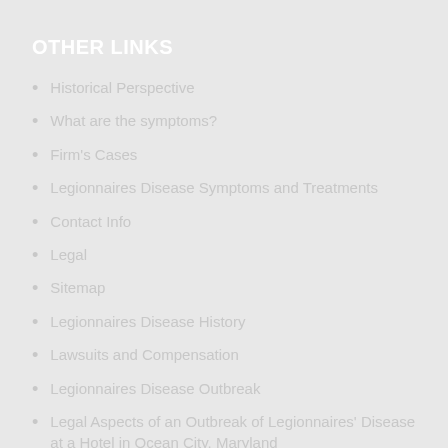OTHER LINKS
Historical Perspective
What are the symptoms?
Firm's Cases
Legionnaires Disease Symptoms and Treatments
Contact Info
Legal
Sitemap
Legionnaires Disease History
Lawsuits and Compensation
Legionnaires Disease Outbreak
Legal Aspects of an Outbreak of Legionnaires' Disease at a Hotel in Ocean City, Maryland